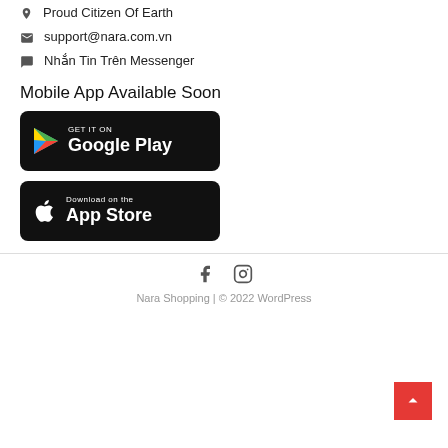📍 Proud Citizen Of Earth
✉ support@nara.com.vn
💬 Nhắn Tin Trên Messenger
Mobile App Available Soon
[Figure (other): Google Play Store badge — black rounded rectangle with Play triangle logo and text 'GET IT ON Google Play']
[Figure (other): Apple App Store badge — black rounded rectangle with Apple logo and text 'Download on the App Store']
f  [Instagram icon]   Nara Shopping | © 2022 WordPress